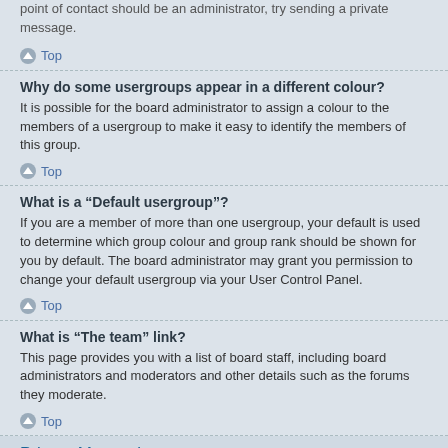point of contact should be an administrator, try sending a private message.
Top
Why do some usergroups appear in a different colour?
It is possible for the board administrator to assign a colour to the members of a usergroup to make it easy to identify the members of this group.
Top
What is a “Default usergroup”?
If you are a member of more than one usergroup, your default is used to determine which group colour and group rank should be shown for you by default. The board administrator may grant you permission to change your default usergroup via your User Control Panel.
Top
What is “The team” link?
This page provides you with a list of board staff, including board administrators and moderators and other details such as the forums they moderate.
Top
Private Messaging